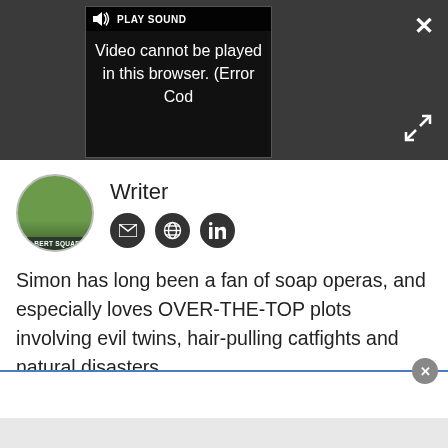[Figure (screenshot): Video player overlay showing 'PLAY SOUND' button and error message: 'Video cannot be played in this browser. (Error Cod']
Writer
[Figure (photo): Circular avatar photo of a person in a yellow jacket, with text 'ALBERT SQUARE' at the bottom]
Simon has long been a fan of soap operas, and especially loves OVER-THE-TOP plots involving evil twins, hair-pulling catfights and natural disasters.
Anyone remember the Sunset Beach